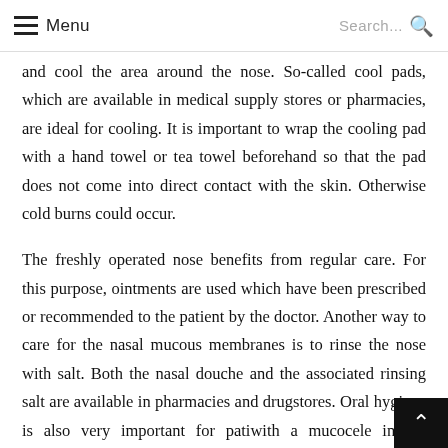Menu  Search...
and cool the area around the nose. So-called cool pads, which are available in medical supply stores or pharmacies, are ideal for cooling. It is important to wrap the cooling pad with a hand towel or tea towel beforehand so that the pad does not come into direct contact with the skin. Otherwise cold burns could occur.
The freshly operated nose benefits from regular care. For this purpose, ointments are used which have been prescribed or recommended to the patient by the doctor. Another way to care for the nasal mucous membranes is to rinse the nose with salt. Both the nasal douche and the associated rinsing salt are available in pharmacies and drugstores. Oral hygiene is also very important for pati… with a mucocele in the paranasal sinuses, since the nose and